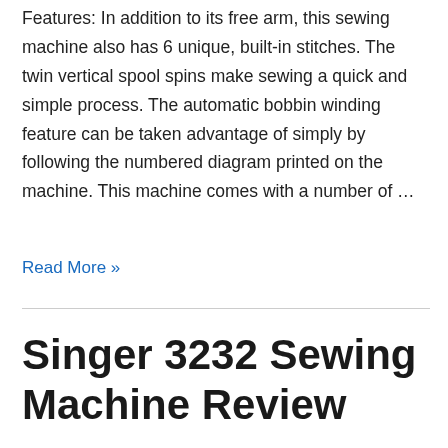Features: In addition to its free arm, this sewing machine also has 6 unique, built-in stitches. The twin vertical spool spins make sewing a quick and simple process. The automatic bobbin winding feature can be taken advantage of simply by following the numbered diagram printed on the machine. This machine comes with a number of …
Read More »
Singer 3232 Sewing Machine Review